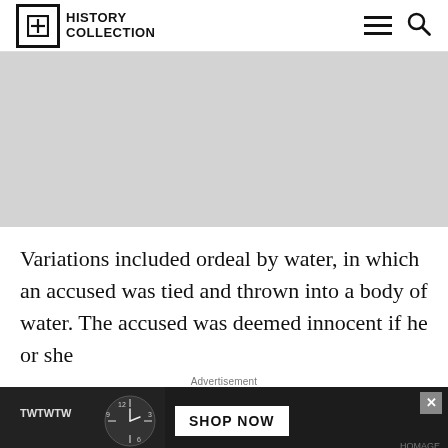History Collection
[Figure (photo): Gray placeholder image area for an article image]
Variations included ordeal by water, in which an accused was tied and thrown into a body of water. The accused was deemed innocent if he or she
Advertisement
[Figure (photo): Advertisement banner: TWTWTW SHOP NOW with watch imagery and close button]